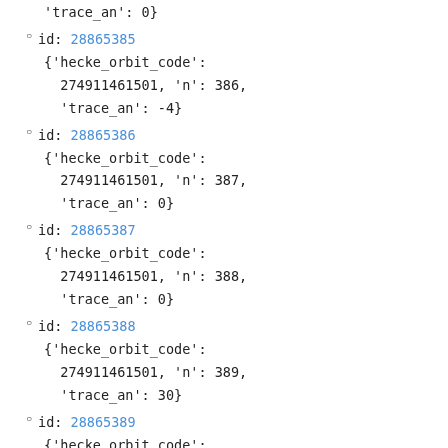'trace_an': 0}
id: 28865385
{'hecke_orbit_code': 274911461501, 'n': 386, 'trace_an': -4}
id: 28865386
{'hecke_orbit_code': 274911461501, 'n': 387, 'trace_an': 0}
id: 28865387
{'hecke_orbit_code': 274911461501, 'n': 388, 'trace_an': 0}
id: 28865388
{'hecke_orbit_code': 274911461501, 'n': 389, 'trace_an': 30}
id: 28865389
{'hecke_orbit_code': 274911461501, 'n': 390, 'trace_an': 0}